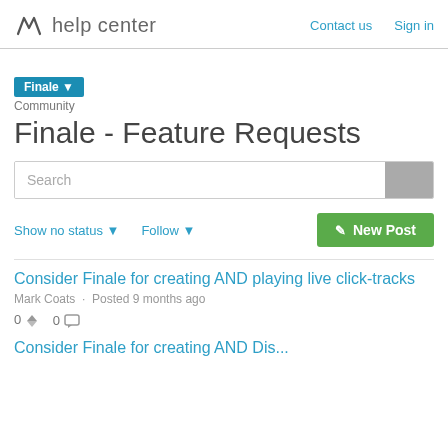help center  Contact us  Sign in
Finale ▼
Community
Finale - Feature Requests
Search
Show no status ▼   Follow ▼   New Post
Consider Finale for creating AND playing live click-tracks
Mark Coats  ·  Posted 9 months ago
0  0